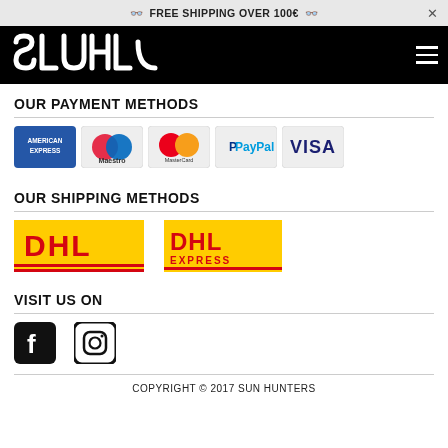🕶 FREE SHIPPING OVER 100€ 🕶
[Figure (logo): Sun Hunters logo in white on black background with hamburger menu icon]
OUR PAYMENT METHODS
[Figure (illustration): Payment method logos: American Express, Maestro, MasterCard, PayPal, Visa]
OUR SHIPPING METHODS
[Figure (illustration): DHL standard logo and DHL Express logo]
VISIT US ON
[Figure (illustration): Facebook icon and Instagram icon]
COPYRIGHT © 2017 SUN HUNTERS